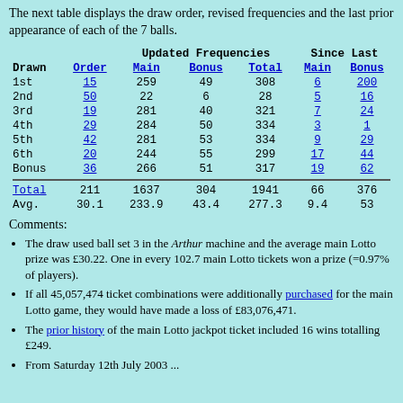The next table displays the draw order, revised frequencies and the last prior appearance of each of the 7 balls.
| Drawn | Order | Main | Bonus | Total | Main | Bonus |
| --- | --- | --- | --- | --- | --- | --- |
| 1st | 15 | 259 | 49 | 308 | 6 | 200 |
| 2nd | 50 | 22 | 6 | 28 | 5 | 16 |
| 3rd | 19 | 281 | 40 | 321 | 7 | 24 |
| 4th | 29 | 284 | 50 | 334 | 3 | 1 |
| 5th | 42 | 281 | 53 | 334 | 9 | 29 |
| 6th | 20 | 244 | 55 | 299 | 17 | 44 |
| Bonus | 36 | 266 | 51 | 317 | 19 | 62 |
| Total | 211 | 1637 | 304 | 1941 | 66 | 376 |
| Avg. | 30.1 | 233.9 | 43.4 | 277.3 | 9.4 | 53 |
Comments:
The draw used ball set 3 in the Arthur machine and the average main Lotto prize was £30.22. One in every 102.7 main Lotto tickets won a prize (=0.97% of players).
If all 45,057,474 ticket combinations were additionally purchased for the main Lotto game, they would have made a loss of £83,076,471.
The prior history of the main Lotto jackpot ticket included 16 wins totalling £249.
From Saturday 12th July 2003 ...